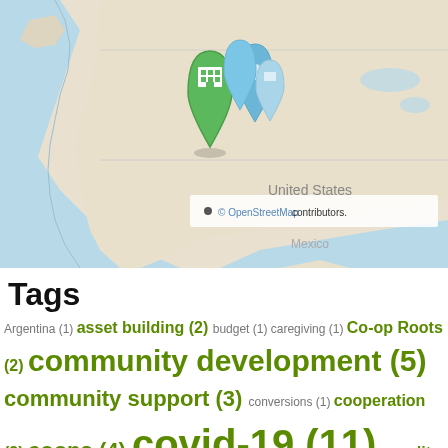[Figure (map): Map of western United States/Canada showing location markers near the Pacific Northwest coast. Map uses OpenStreetMap tiles. Two markers visible: a green building marker and blue location pins clustered near what appears to be Oregon/Washington coast. Label 'United States' visible on map.]
© OpenStreetMap contributors.
Tags
Argentina (1) asset building (2) budget (1) caregiving (1) Co-op Roots (2) community development (5) community support (3) conversions (1) cooperation (2) coops (4) covid-19 (11) credit unions (2) economic justice (1) economics (5) Education (11) electric co-ops (1) envrionment (1) film (...)